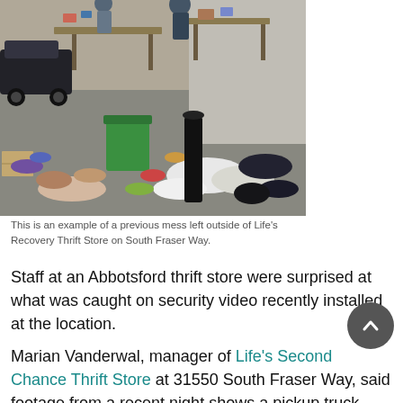[Figure (photo): Photo of a large mess of clothing, boxes, and miscellaneous items scattered on the ground outside a store. Tables with items and a car are visible in the background. A green bin and a black bollard are visible among the clutter.]
This is an example of a previous mess left outside of Life's Recovery Thrift Store on South Fraser Way.
Staff at an Abbotsford thrift store were surprised at what was caught on security video recently installed at the location.
Marian Vanderwal, manager of Life's Second Chance Thrift Store at 31550 South Fraser Way, said footage from a recent night shows a pickup truck pulling up to the store